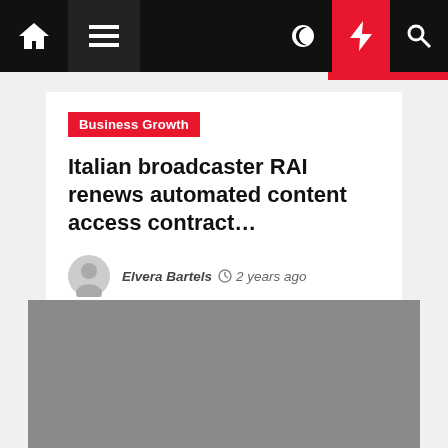Navigation bar with home, menu, moon, bolt, and search icons
Business Growth
Italian broadcaster RAI renews automated content access contract…
Elvera Bartels  2 years ago
[Figure (photo): Gray placeholder image for article]